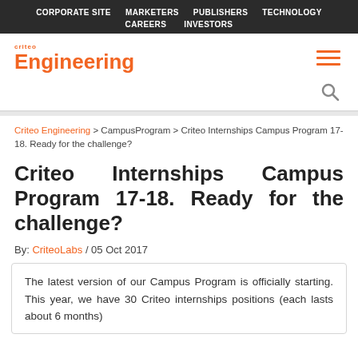CORPORATE SITE   MARKETERS   PUBLISHERS   TECHNOLOGY   CAREERS   INVESTORS
[Figure (logo): Criteo Engineering logo with orange text and hamburger menu icon]
Criteo Engineering > CampusProgram > Criteo Internships Campus Program 17-18. Ready for the challenge?
Criteo Internships Campus Program 17-18. Ready for the challenge?
By: CriteoLabs / 05 Oct 2017
The latest version of our Campus Program is officially starting. This year, we have 30 Criteo internships positions (each lasts about 6 months)